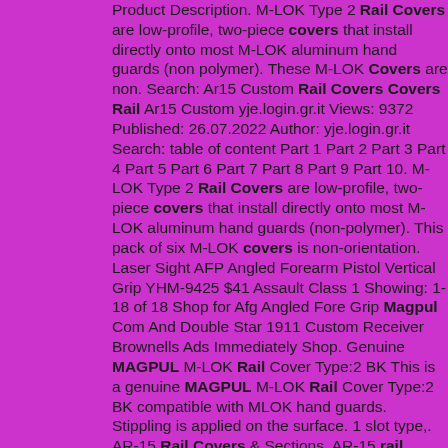Product Description. M-LOK Type 2 Rail Covers are low-profile, two-piece covers that install directly onto most M-LOK aluminum hand guards (non polymer). These M-LOK Covers are non. Search: Ar15 Custom Rail Covers Covers Rail Ar15 Custom yje.login.gr.it Views: 9372 Published: 26.07.2022 Author: yje.login.gr.it Search: table of content Part 1 Part 2 Part 3 Part 4 Part 5 Part 6 Part 7 Part 8 Part 9 Part 10. M-LOK Type 2 Rail Covers are low-profile, two-piece covers that install directly onto most M-LOK aluminum hand guards (non-polymer). This pack of six M-LOK covers is non-orientation. Laser Sight AFP Angled Forearm Pistol Vertical Grip YHM-9425 $41 Assault Class 1 Showing: 1-18 of 18 Shop for Afg Angled Fore Grip Magpul Com And Double Star 1911 Custom Receiver Brownells Ads Immediately Shop. Genuine MAGPUL M-LOK Rail Cover Type:2 BK This is a genuine MAGPUL M-LOK Rail Cover Type:2 BK compatible with MLOK hand guards. Stippling is applied on the surface. 1 slot type,. AR-15 Rail Covers & Sections. AR-15 rail covers are a great way to make your AR more comfortable to shoot. They will protect the shooter from the hard metal and increase the shooter's comfort. AR-15 rail covers are available in various colors, but most importantly, they are available in a modular format that fits all rails. The M-LOK Type 2 Rail Covers features beveled contours to minimize potential snagging